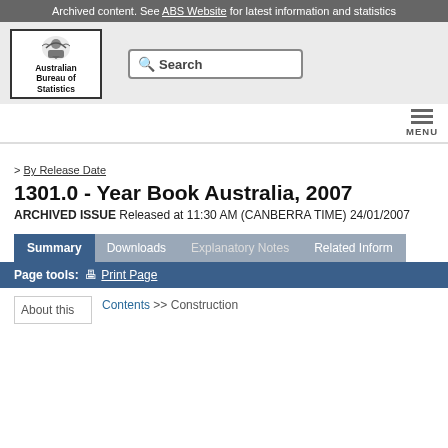Archived content. See ABS Website for latest information and statistics
[Figure (logo): Australian Bureau of Statistics logo with crest and bordered box]
By Release Date
1301.0 - Year Book Australia, 2007
ARCHIVED ISSUE Released at 11:30 AM (CANBERRA TIME) 24/01/2007
Summary | Downloads | Explanatory Notes | Related Information
Page tools: Print Page
Contents >> Construction